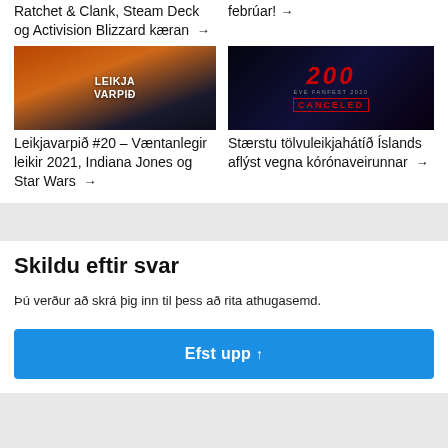Ratchet & Clank, Steam Deck og Activision Blizzard kæran →
febrúar! →
[Figure (photo): Leikjavarpið thumbnail showing game characters with text LEIKJA VARPIÐ]
[Figure (photo): EVE Fanfest 2020 CANCELED dark promotional image]
Leikjavarpið #20 – Væntanlegir leikir 2021, Indiana Jones og Star Wars →
Stærstu tölvuleikjahátíð Íslands aflýst vegna kórónaveirunnar →
Skildu eftir svar
Þú verður að skrá þig inn til þess að rita athugasemd.
Efst upp ↑